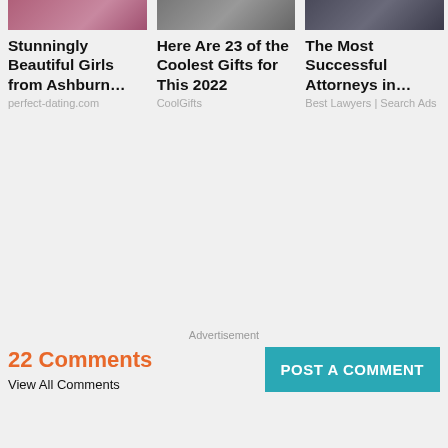[Figure (photo): Three advertisement cards with images at top: left shows a woman (dating site ad), middle shows a person holding something (gifts ad), right shows a person in a dark suit (lawyers ad).]
Stunningly Beautiful Girls from Ashburn…
perfect-dating.com
Here Are 23 of the Coolest Gifts for This 2022
CoolGifts
The Most Successful Attorneys in…
Best Lawyers | Search Ads
Advertisement
22 Comments
View All Comments
POST A COMMENT